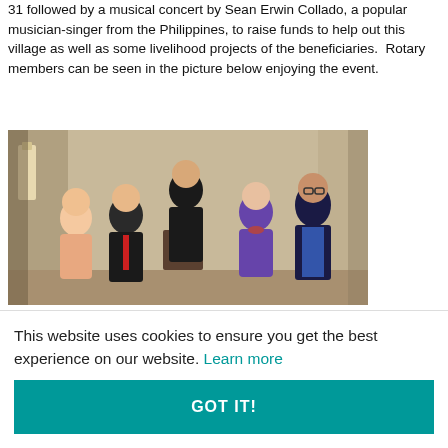31 followed by a musical concert by Sean Erwin Collado, a popular musician-singer from the Philippines, to raise funds to help out this village as well as some livelihood projects of the beneficiaries. Rotary members can be seen in the picture below enjoying the event.
[Figure (photo): Group photo of five Rotary members standing together in a room. Two women and three men. The woman on the left wears a peach top, the man next to her wears a red tie and dark suit, a taller man stands behind in a dark suit, a woman in the center-right wears a purple jacket, and the man on the far right wears a blue shirt and dark blazer.]
This website uses cookies to ensure you get the best experience on our website. Learn more